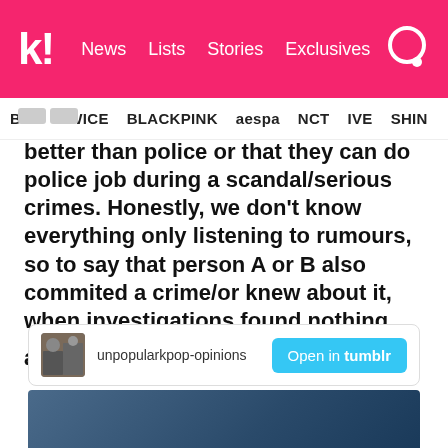k! News Lists Stories Exclusives
BTS TWICE BLACKPINK aespa NCT IVE SHIN…
better than police or that they can do police job during a scandal/serious crimes. Honestly, we don't know everything only listening to rumours, so to say that person A or B also commited a crime/or knew about it, when investigations found nothing about them, it's ridiculous ””
unpopularkpop-opinions
Open in tumblr